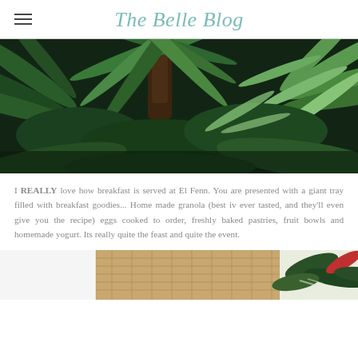The Belle Blog
[Figure (photo): Dense tropical garden with palm fronds and green foliage, dark moody tones]
I REALLY love how breakfast is served at El Fenn. You are presented with a giant tray filled with breakfast goodies... Home made granola (best iv ever tasted, and they'll even give you the recipe) eggs cooked to order, freshly baked pastries, fruit bowls and homemade yogurt. Its really quite the feast and quite the event.
[Figure (photo): Bottom portion of image showing wicker/rattan furniture and tropical plant leaves]